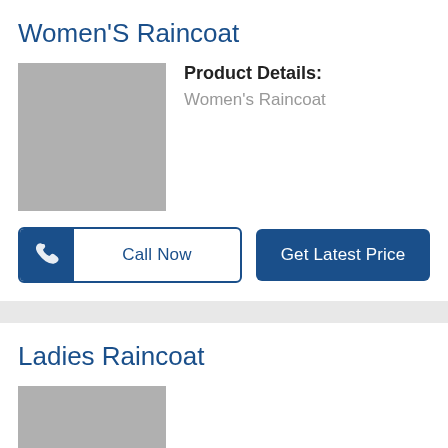Women'S Raincoat
[Figure (photo): Placeholder image for Women's Raincoat product]
Product Details: Women's Raincoat
Call Now
Get Latest Price
Ladies Raincoat
[Figure (photo): Placeholder image for Ladies Raincoat product]